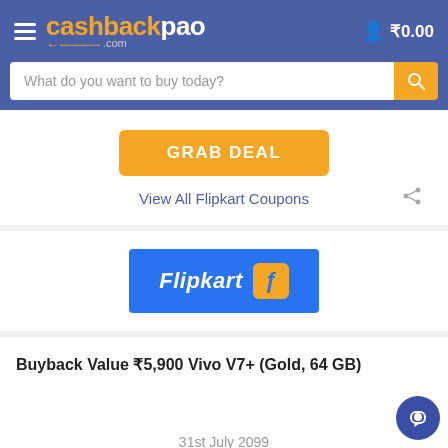cashbackpao.com — ₹0.00
What do you want to buy today?
GRAB DEAL
View All Flipkart Coupons
[Figure (logo): Flipkart logo — blue rectangle with white italic text 'Flipkart' and yellow icon with letter F]
Buyback Value ₹5,900 Vivo V7+ (Gold, 64 GB)
31st July 2099